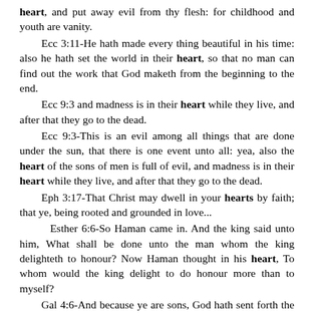heart, and put away evil from thy flesh: for childhood and youth are vanity.
Ecc 3:11-He hath made every thing beautiful in his time: also he hath set the world in their heart, so that no man can find out the work that God maketh from the beginning to the end.
Ecc 9:3 and madness is in their heart while they live, and after that they go to the dead.
Ecc 9:3-This is an evil among all things that are done under the sun, that there is one event unto all: yea, also the heart of the sons of men is full of evil, and madness is in their heart while they live, and after that they go to the dead.
Eph 3:17-That Christ may dwell in your hearts by faith; that ye, being rooted and grounded in love...
Esther 6:6-So Haman came in. And the king said unto him, What shall be done unto the man whom the king delighteth to honour? Now Haman thought in his heart, To whom would the king delight to do honour more than to myself?
Gal 4:6-And because ye are sons, God hath sent forth the Spirit of his Son into your hearts, crying, Abba, Father.
Heb 3:10-Wherefore I was grieved with that